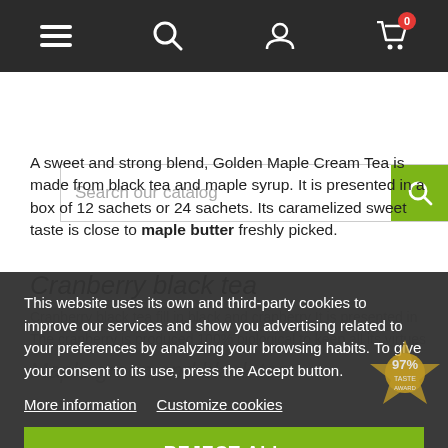[Figure (screenshot): Website navigation bar with hamburger menu, search, user, and cart (0) icons on dark background]
[Figure (screenshot): Search bar with placeholder text 'Search our catalog' and green search button]
A sweet and strong blend, Golden Maple Cream Tea is made from black tea and maple syrup. It is presented in a box of 12 sachets or 24 sachets. Its caramelized sweet taste is close to maple butter freshly picked.
Cranberry black tea
Cranberry black tea fill in black and cranberry It is presented in
The cranberry is produced 100% biological to keep all its virtues
Maple green and black tea
This website uses its own and third-party cookies to improve our services and show you advertising related to your preferences by analyzing your browsing habits. To give your consent to its use, press the Accept button.
More information   Customize cookies
REJECT ALL
I ACCEPT
The composition of these ingredients has made it possible